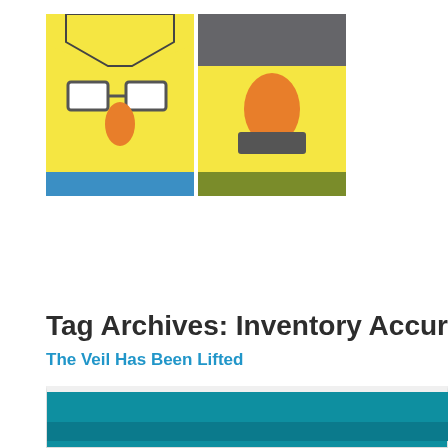[Figure (logo): Two illustrated cartoon icons side by side: left icon shows a yellow character with glasses and orange nose on yellow background with blue bottom; right icon shows a yellow character with orange egg shape on yellow background with gray top and olive bottom.]
Tag Archives: Inventory Accura
The Veil Has Been Lifted
Posted on April 6, 2022 by Jeff Harrop
You never know who's swimming naked until the tide goes out. – Warren
[Figure (photo): Photo showing teal/blue water, partially visible at the bottom of the page.]